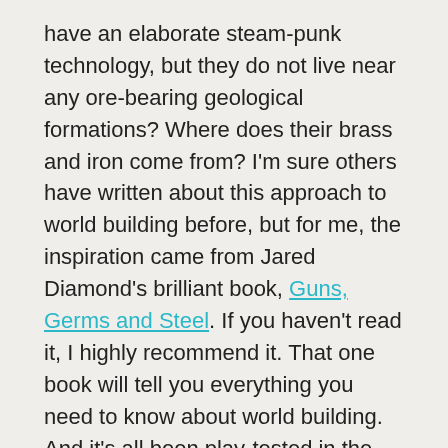have an elaborate steam-punk technology, but they do not live near any ore-bearing geological formations? Where does their brass and iron come from? I'm sure others have written about this approach to world building before, but for me, the inspiration came from Jared Diamond's brilliant book, Guns, Germs and Steel. If you haven't read it, I highly recommend it. That one book will tell you everything you need to know about world building. And it's all been play-tested in the best adventurers of history, because he isn't actually talking about world building – he's talking about how the cultures of Earth came to be the way they are today.
So as you can see, we have only looked at 3 locations on these maps so far, but already we're getting a wealth of detail concerning the features, wants, and treasures of several different societies in our world. It doesn't take much imagination to conclude that the same conditions...